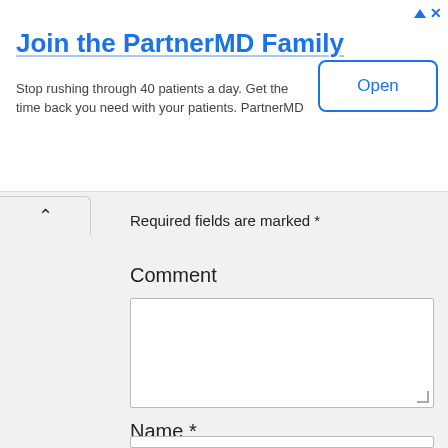[Figure (screenshot): Advertisement banner for PartnerMD with title 'Join the PartnerMD Family', body text, and an Open button]
Required fields are marked *
Comment
[Figure (screenshot): Empty comment textarea input field]
Name *
[Figure (screenshot): Name text input field (partially visible)]